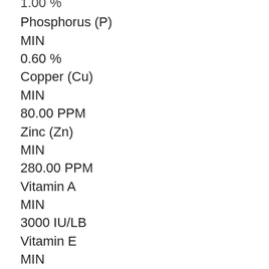1.00 %
Phosphorus (P)
MIN
0.60 %
Copper (Cu)
MIN
80.00 PPM
Zinc (Zn)
MIN
280.00 PPM
Vitamin A
MIN
3000 IU/LB
Vitamin E
MIN
125 IU/LB
Selenium (Se)
MIN